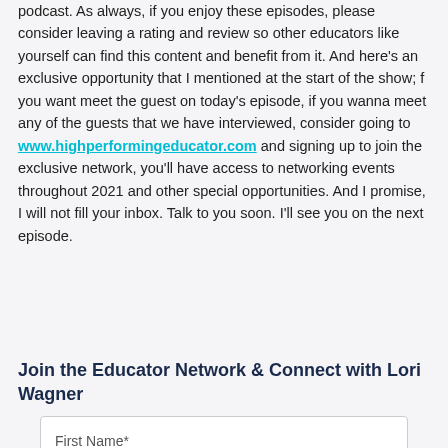podcast. As always, if you enjoy these episodes, please consider leaving a rating and review so other educators like yourself can find this content and benefit from it. And here's an exclusive opportunity that I mentioned at the start of the show; f you want meet the guest on today's episode, if you wanna meet any of the guests that we have interviewed, consider going to www.highperformingeducator.com and signing up to join the exclusive network, you'll have access to networking events throughout 2021 and other special opportunities. And I promise, I will not fill your inbox. Talk to you soon. I'll see you on the next episode.
Join the Educator Network & Connect with Lori Wagner
First Name*